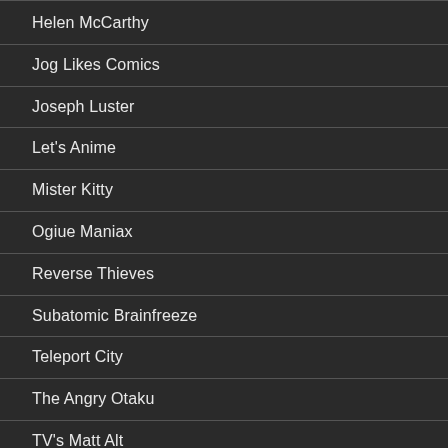Helen McCarthy
Jog Likes Comics
Joseph Luster
Let's Anime
Mister Kitty
Ogiue Maniax
Reverse Thieves
Subatomic Brainfreeze
Teleport City
The Angry Otaku
TV's Matt Alt